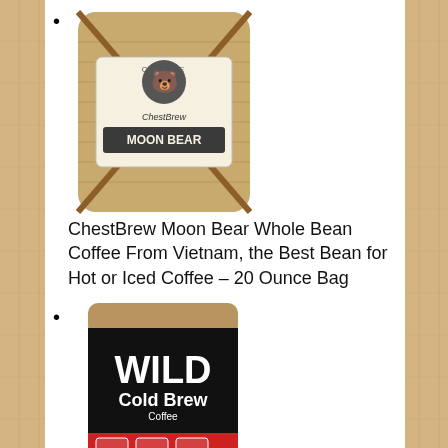ChestBrew Moon Bear Whole Bean Coffee From Vietnam, the Best Bean for Hot or Iced Coffee – 20 Ounce Bag
Cold Brew Coffee Kit, Brew-At-Home Wild Coffee Pouch made with Ground Organic Wild Coffee, Fair trade, Single-origin, Fresh roasted High-performance Coffee (Lumberjack Blend, 4 Pouch)
Cafe La Llave 12 packs of 10 oz each